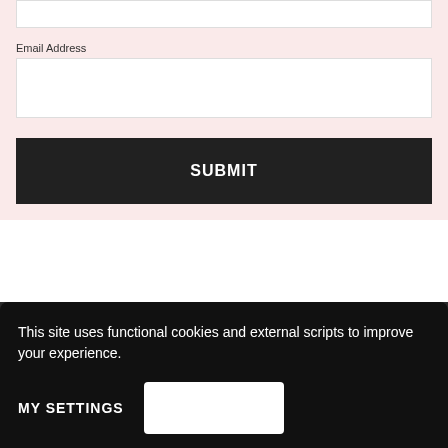Email Address
SUBMIT
Type search
This site uses functional cookies and external scripts to improve your experience.
MY SETTINGS